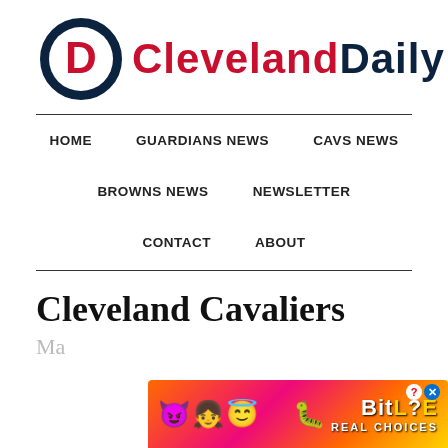[Figure (logo): Cleveland Daily logo: circular navy and red 'D' icon followed by CLEVELAND in red and DAILY in navy, bold uppercase text]
HOME   GUARDIANS NEWS   CAVS NEWS   BROWNS NEWS   NEWSLETTER   CONTACT   ABOUT
Cleveland Cavaliers
Ma...
[Figure (advertisement): BitLife Real Choices advertisement banner with colorful emojis and gradient background]